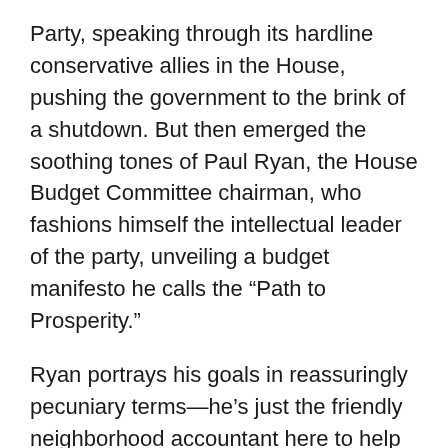Party, speaking through its hardline conservative allies in the House, pushing the government to the brink of a shutdown. But then emerged the soothing tones of Paul Ryan, the House Budget Committee chairman, who fashions himself the intellectual leader of the party, unveiling a budget manifesto he calls the “Path to Prosperity.”
Ryan portrays his goals in reassuringly pecuniary terms—he’s just the friendly neighborhood accountant here to help balance your checkbook. “I have a knack for numbers,” he chirps. ABC News compared him to a character in Dave, the corny 1993 movie about an average Joe who mistakenly assumes the presidency and calls in his CPA buddy—that would be Ryan—to scour the federal budget and bring it into balance. If he has any flaw, he just cares